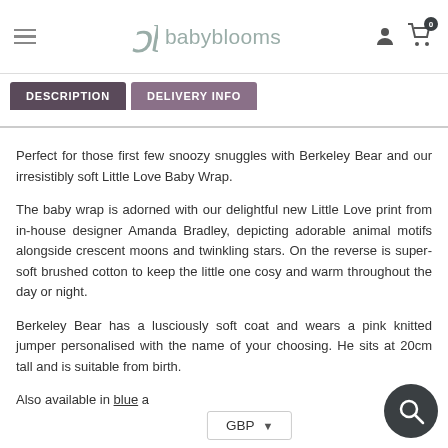babyblooms
DESCRIPTION | DELIVERY INFO
Perfect for those first few snoozy snuggles with Berkeley Bear and our irresistibly soft Little Love Baby Wrap.
The baby wrap is adorned with our delightful new Little Love print from in-house designer Amanda Bradley, depicting adorable animal motifs alongside crescent moons and twinkling stars. On the reverse is super-soft brushed cotton to keep the little one cosy and warm throughout the day or night.
Berkeley Bear has a lusciously soft coat and wears a pink knitted jumper personalised with the name of your choosing. He sits at 20cm tall and is suitable from birth.
Also available in blue and...